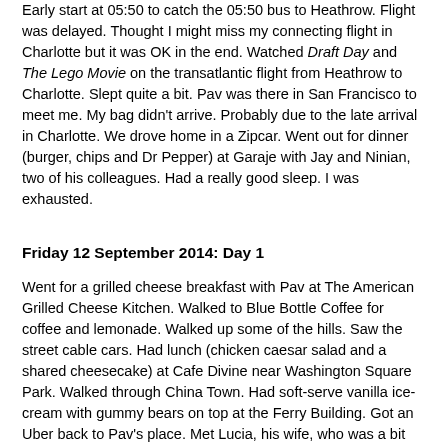Early start at 05:50 to catch the 05:50 bus to Heathrow. Flight was delayed. Thought I might miss my connecting flight in Charlotte but it was OK in the end. Watched Draft Day and The Lego Movie on the transatlantic flight from Heathrow to Charlotte. Slept quite a bit. Pav was there in San Francisco to meet me. My bag didn't arrive. Probably due to the late arrival in Charlotte. We drove home in a Zipcar. Went out for dinner (burger, chips and Dr Pepper) at Garaje with Jay and Ninian, two of his colleagues. Had a really good sleep. I was exhausted.
Friday 12 September 2014: Day 1
Went for a grilled cheese breakfast with Pav at The American Grilled Cheese Kitchen. Walked to Blue Bottle Coffee for coffee and lemonade. Walked up some of the hills. Saw the street cable cars. Had lunch (chicken caesar salad and a shared cheesecake) at Cafe Divine near Washington Square Park. Walked through China Town. Had soft-serve vanilla ice-cream with gummy bears on top at the Ferry Building. Got an Uber back to Pav's place. Met Lucia, his wife, who was a bit grumpy at first because we kept her waiting. Went for dinner at a Thai restaurant called Basil (chicken satay skewers followed by beef stir-fry with rice).